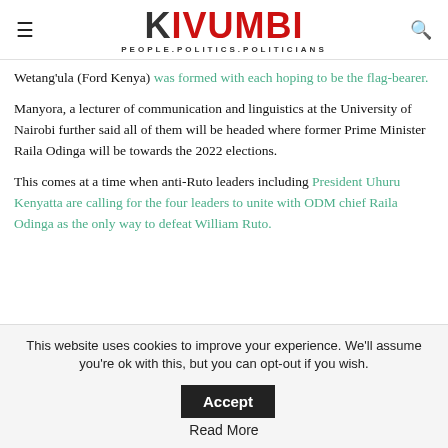KIVUMBI — PEOPLE.POLITICS.POLITICIANS
Wetang'ula (Ford Kenya) was formed with each hoping to be the flag-bearer.
Manyora, a lecturer of communication and linguistics at the University of Nairobi further said all of them will be headed where former Prime Minister Raila Odinga will be towards the 2022 elections.
This comes at a time when anti-Ruto leaders including President Uhuru Kenyatta are calling for the four leaders to unite with ODM chief Raila Odinga as the only way to defeat William Ruto.
This website uses cookies to improve your experience. We'll assume you're ok with this, but you can opt-out if you wish. Accept
Read More